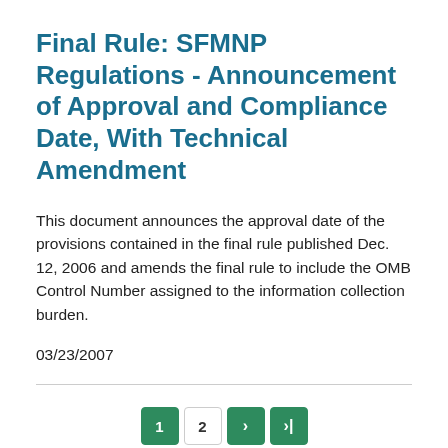Final Rule: SFMNP Regulations - Announcement of Approval and Compliance Date, With Technical Amendment
This document announces the approval date of the provisions contained in the final rule published Dec. 12, 2006 and amends the final rule to include the OMB Control Number assigned to the information collection burden.
03/23/2007